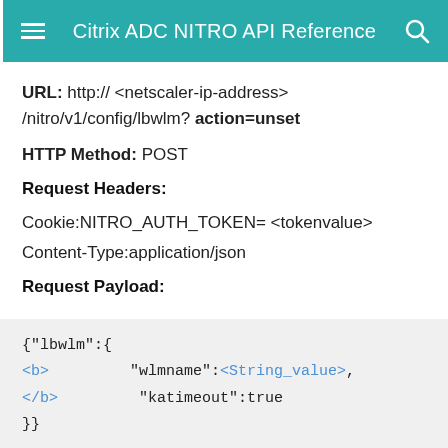Citrix ADC NITRO API Reference
URL: http:// <netscaler-ip-address> /nitro/v1/config/lbwlm? action=unset
HTTP Method: POST
Request Headers:
Cookie:NITRO_AUTH_TOKEN= <tokenvalue>
Content-Type:application/json
Request Payload:
{"lbwlm":{
<b>         "wlmname":<String_value>,
</b>         "katimeout":true
}}